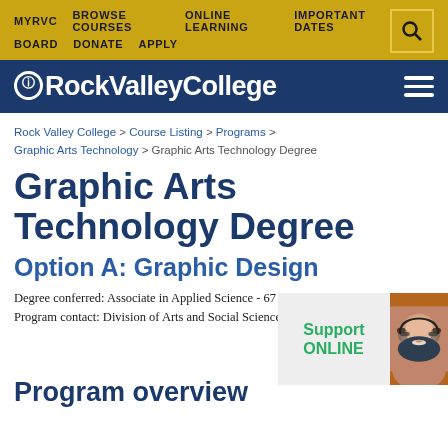MYRVC   BROWSE COURSES   ONLINE LEARNING   IMPORTANT DATES   BOARD   DONATE   APPLY
[Figure (logo): Rock Valley College logo — white text on dark navy blue background with hamburger menu icon]
Rock Valley College > Course Listing > Programs > Graphic Arts Technology > Graphic Arts Technology Degree
Graphic Arts Technology Degree
Option A: Graphic Design
Degree conferred: Associate in Applied Science - 67 credits
Program contact: Division of Arts and Social Sciences (8... 921-3317
[Figure (illustration): Support ONLINE chat widget with a smiling woman wearing a headset]
Program overview